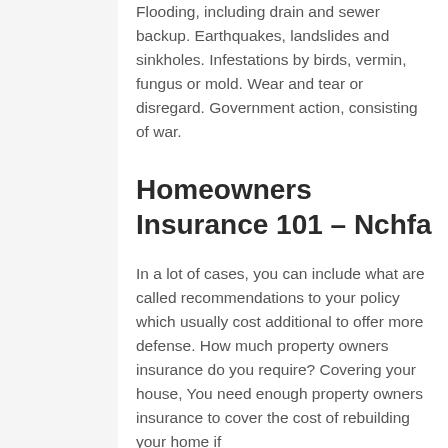Flooding, including drain and sewer backup. Earthquakes, landslides and sinkholes. Infestations by birds, vermin, fungus or mold. Wear and tear or disregard. Government action, consisting of war.
Homeowners Insurance 101 – Nchfa
In a lot of cases, you can include what are called recommendations to your policy which usually cost additional to offer more defense. How much property owners insurance do you require? Covering your house, You need enough property owners insurance to cover the cost of rebuilding your home if